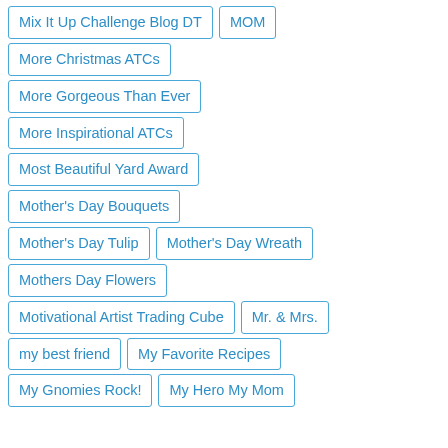Mix It Up Challenge Blog DT
MOM
More Christmas ATCs
More Gorgeous Than Ever
More Inspirational ATCs
Most Beautiful Yard Award
Mother's Day Bouquets
Mother's Day Tulip
Mother's Day Wreath
Mothers Day Flowers
Motivational Artist Trading Cube
Mr. & Mrs.
my best friend
My Favorite Recipes
My Gnomies Rock!
My Hero My Mom